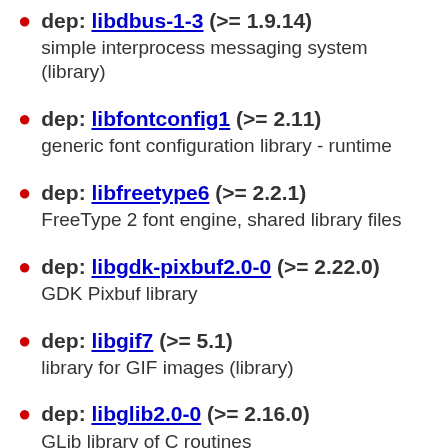dep: libdbus-1-3 (>= 1.9.14)
simple interprocess messaging system (library)
dep: libfontconfig1 (>= 2.11)
generic font configuration library - runtime
dep: libfreetype6 (>= 2.2.1)
FreeType 2 font engine, shared library files
dep: libgdk-pixbuf2.0-0 (>= 2.22.0)
GDK Pixbuf library
dep: libgif7 (>= 5.1)
library for GIF images (library)
dep: libglib2.0-0 (>= 2.16.0)
GLib library of C routines
dep: libgnutls30 (>= 3.5.6)